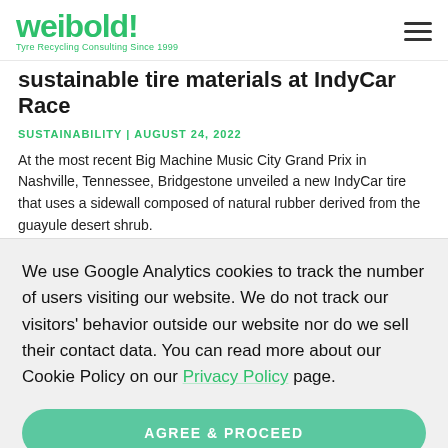weibold! Tyre Recycling Consulting Since 1999
sustainable tire materials at IndyCar Race
SUSTAINABILITY | AUGUST 24, 2022
At the most recent Big Machine Music City Grand Prix in Nashville, Tennessee, Bridgestone unveiled a new IndyCar tire that uses a sidewall composed of natural rubber derived from the guayule desert shrub.
READ MORE ▶
We use Google Analytics cookies to track the number of users visiting our website. We do not track our visitors' behavior outside our website nor do we sell their contact data. You can read more about our Cookie Policy on our Privacy Policy page.
AGREE & PROCEED